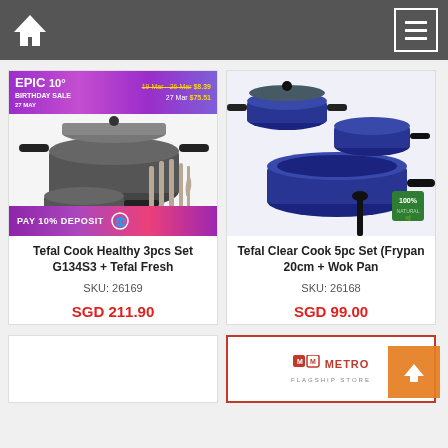Navigation bar with home icon and menu button
[Figure (photo): Tefal Cook Healthy 3pcs Set product image with cookware and utensils, Epic 10 Birthday Sale banner overlay and PAY 10% DEPOSIT banner]
Tefal Cook Healthy 3pcs Set G134S3 + Tefal Fresh
SKU: 26169
SGD 211.90
[Figure (photo): Tefal Clear Cook 5pc Set product image showing blue cookware set with pots, pans and spoon]
Tefal Clear Cook 5pc Set (Frypan 20cm + Wok Pan
SKU: 26168
SGD 99.00
[Figure (photo): Empty bottom-left product card]
[Figure (photo): Metro Flagship Store branding card with red border]